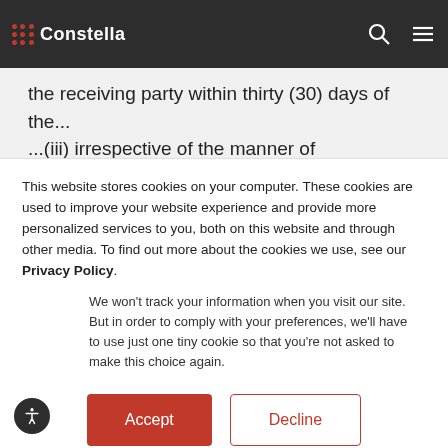Constella (logo/nav bar)
the receiving party within thirty (30) days of the... (iii) irrespective of the manner of disclosure, which the receiving party should reasonably understand to be confidential or proprietary to the disclosing party. For the purposes of this EULA, you agree that the Feedback, any Deliverables we provide to you, and any non-public elements of each Application (including, without limitation, the source code of any Constella-
This website stores cookies on your computer. These cookies are used to improve your website experience and provide more personalized services to you, both on this website and through other media. To find out more about the cookies we use, see our Privacy Policy.
We won't track your information when you visit our site. But in order to comply with your preferences, we'll have to use just one tiny cookie so that you're not asked to make this choice again.